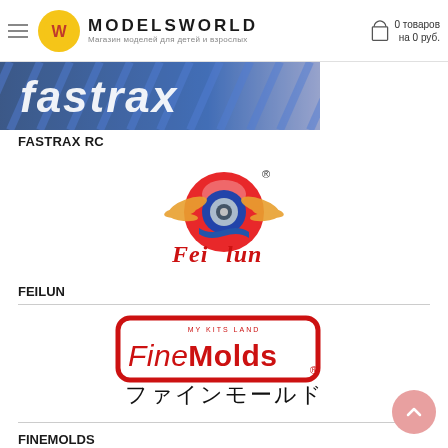MODELSWORLD — Магазин моделей для детей и взрослых — 0 товаров на 0 руб.
[Figure (logo): Fastrax RC logo — stylized italic text with tire tread pattern background]
FASTRAX RC
[Figure (logo): Feilun logo — winged tire over red sun circle with text 'Fei lun' in red italic script and registered trademark symbol]
FEILUN
[Figure (logo): FineMolds logo — red rounded rectangle border with FineMolds text and Japanese text ファインモールド below, registered trademark symbol]
FINEMOLDS
[Figure (logo): FIT-IT logo — yellow oval with black border, bold stylized FIT IT text with dot separator]